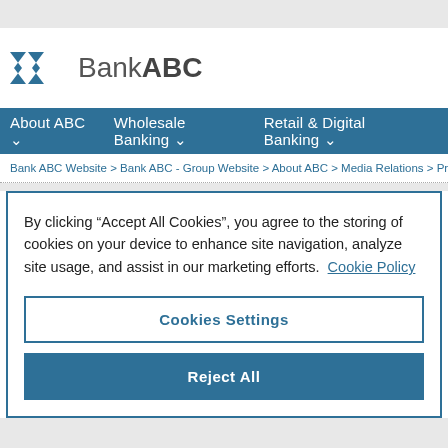[Figure (logo): Bank ABC logo with two angular chevron shapes in teal/navy and the text 'Bank ABC']
About ABC  Wholesale Banking  Retail & Digital Banking
Bank ABC Website > Bank ABC - Group Website > About ABC > Media Relations > Press Relea
By clicking “Accept All Cookies”, you agree to the storing of cookies on your device to enhance site navigation, analyze site usage, and assist in our marketing efforts. Cookie Policy
Cookies Settings
Reject All